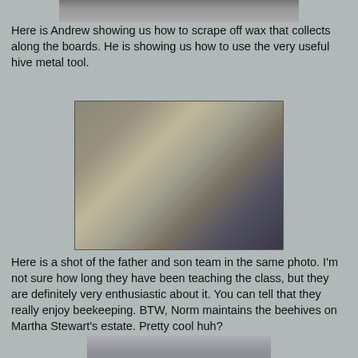[Figure (photo): Partial photo visible at top of page showing people outdoors]
Here is Andrew showing us how to scrape off wax that collects along the boards.  He is showing us how to use the very useful hive metal tool.
[Figure (photo): Photo of Andrew (man in grey sweater) demonstrating use of hive metal tool on a beehive box outdoors, with a group of people watching]
Here is a shot of the father and son team in the same photo.  I'm not sure how long they have been teaching the class, but they are definitely very enthusiastic about it.  You can tell that they really enjoy beekeeping.  BTW, Norm maintains the beehives on Martha Stewart's estate.  Pretty cool huh?
[Figure (photo): Partial photo at bottom of page showing building exterior]